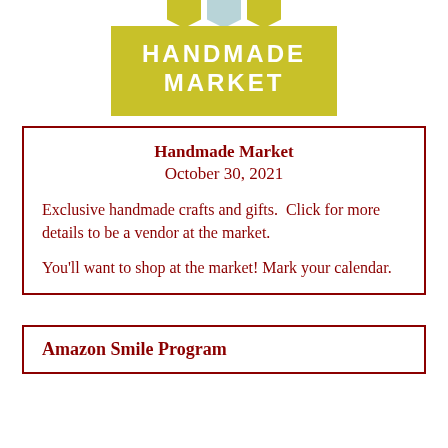[Figure (logo): Handmade Market logo: olive/yellow-green rectangle with decorative banner tabs at top, bold white uppercase text reading HANDMADE MARKET]
Handmade Market
October 30, 2021
Exclusive handmade crafts and gifts.  Click for more details to be a vendor at the market.
You'll want to shop at the market! Mark your calendar.
Amazon Smile Program